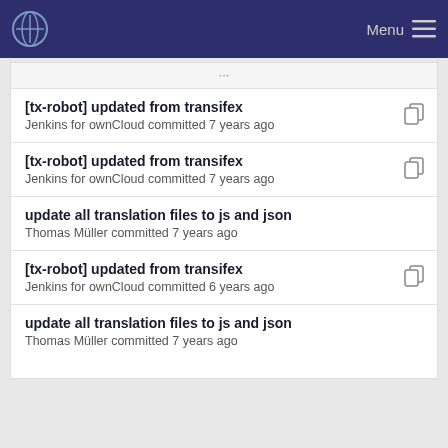Menu
[tx-robot] updated from transifex
Jenkins for ownCloud committed 7 years ago
[tx-robot] updated from transifex
Jenkins for ownCloud committed 7 years ago
update all translation files to js and json
Thomas Müller committed 7 years ago
[tx-robot] updated from transifex
Jenkins for ownCloud committed 6 years ago
update all translation files to js and json
Thomas Müller committed 7 years ago